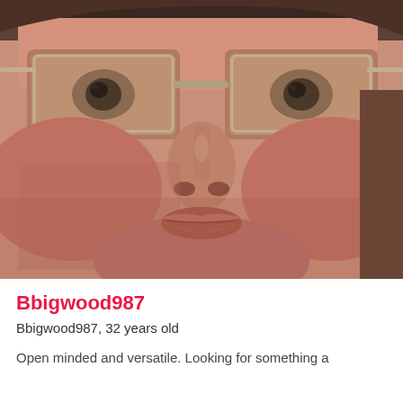[Figure (photo): Close-up selfie of a middle-aged man wearing thin-framed glasses, with stubble/beard, light skin, looking slightly to the side. The photo is a very close crop showing mainly the nose, eyes with glasses, and lower face.]
Bbigwood987
Bbigwood987, 32 years old
Open minded and versatile. Looking for something a